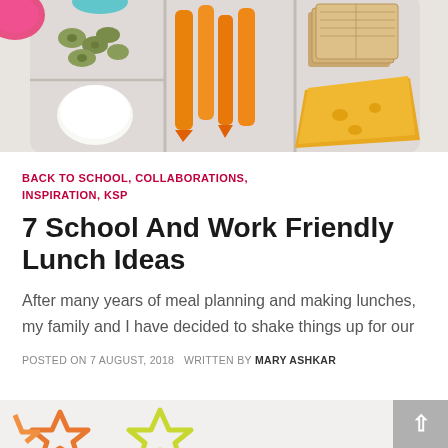[Figure (photo): Top-down photo of a bento/lunch box with compartments containing olives, a hard-boiled egg, carrot sticks, crackers, and cheese. Pink and teal bowl visible at top. Background is white/grey surface.]
BACK TO SCHOOL, COLLABORATIONS, INSPIRATION, KSP
7 School And Work Friendly Lunch Ideas
After many years of meal planning and making lunches, my family and I have decided to shake things up for our
POSTED ON 7 AUGUST, 2018   WRITTEN BY MARY ASHKAR
[Figure (photo): Partial photo at bottom of page showing colorful star-shaped cookie cutters (orange, yellow-green) on a light surface.]